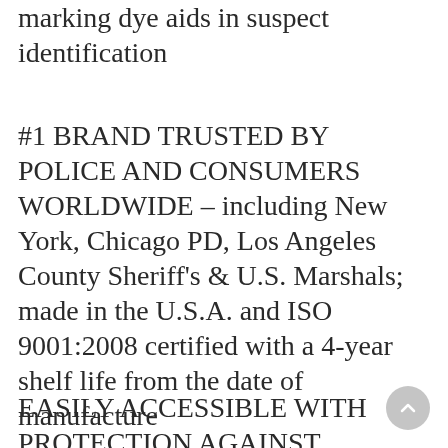marking dye aids in suspect identification
#1 BRAND TRUSTED BY POLICE AND CONSUMERS WORLDWIDE – including New York, Chicago PD, Los Angeles County Sheriff's & U.S. Marshals; made in the U.S.A. and ISO 9001:2008 certified with a 4-year shelf life from the date of manufacture
EASILY ACCESSIBLE WITH PROTECTION AGAINST MULTIPLE THREATS – belt holster helps